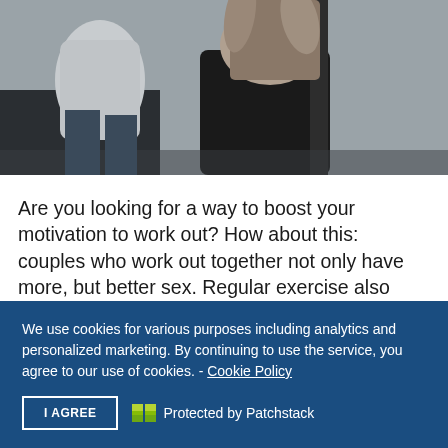[Figure (photo): Two people exercising together; one person appears to be doing a workout movement near a chair or rope equipment, wearing black pants. Another person in gray/white clothing is visible to the left. Dark/moody gym setting.]
Are you looking for a way to boost your motivation to work out? How about this: couples who work out together not only have more, but better sex. Regular exercise also leads to
We use cookies for various purposes including analytics and personalized marketing. By continuing to use the service, you agree to our use of cookies. - Cookie Policy
I AGREE   Protected by Patchstack